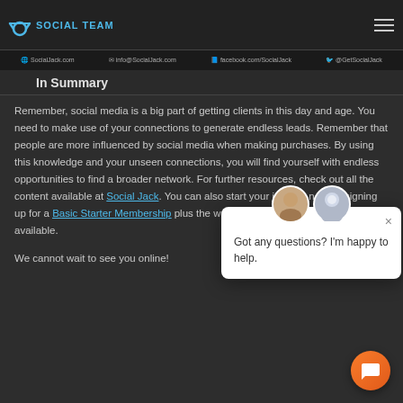SOCIAL TEAM
In Summary
Remember, social media is a big part of getting clients in this day and age. You need to make use of your connections to generate endless leads. Remember that people are more influenced by social media when making purchases. By using this knowledge and your unseen connections, you will find yourself with endless opportunities to find a broader network. For further resources, check out all the content available at Social Jack. You can also start your journey now by signing up for a Basic Starter Membership plus the worksheets and classes currently available.
[Figure (screenshot): Chat popup with avatars saying 'Got any questions? I'm happy to help.']
We cannot wait to see you online!